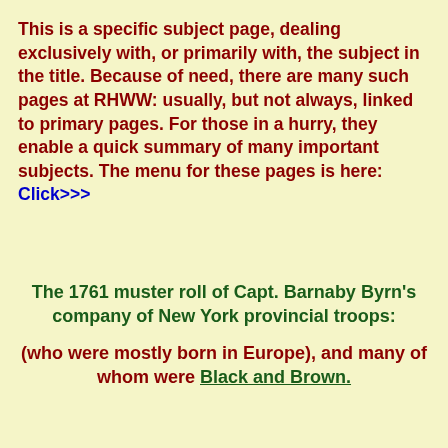This is a specific subject page, dealing exclusively with, or primarily with, the subject in the title. Because of need, there are many such pages at RHWW: usually, but not always, linked to primary pages. For those in a hurry, they enable a quick summary of many important subjects. The menu for these pages is here: Click>>>
The 1761 muster roll of Capt. Barnaby Byrn's company of New York provincial troops:
(who were mostly born in Europe), and many of whom were Black and Brown.